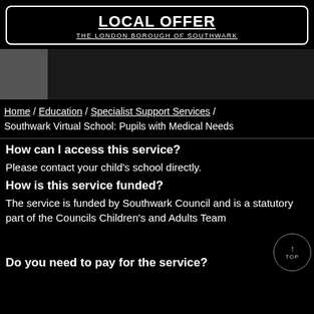LOCAL OFFER
THE LONDON BOROUGH OF SOUTHWARK
[Figure (photo): Image strip with grey and dark sections representing a banner photo area]
Home / Education / Specialist Support Services / Southwark Virtual School: Pupils with Medical Needs
How can I access this service?
Please contact your child's school directly.
How is this service funded?
The service is funded by Southwark Council and is a statutory part of the Councils Children's and Adults Team
Do you need to pay for the service?